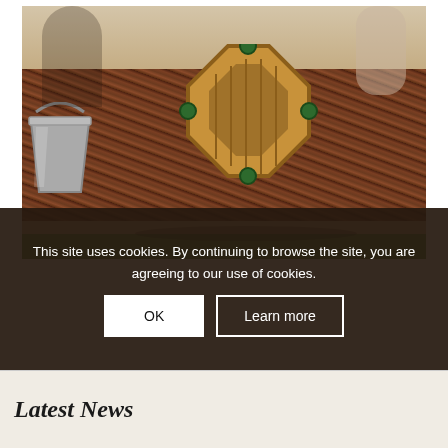[Figure (photo): Children playing around a wooden octagonal structure (sandbox or play equipment) with green metal handles, surrounded by wood chip mulch and a metal galvanized bucket on the left, green artificial grass visible at the bottom.]
This site uses cookies. By continuing to browse the site, you are agreeing to our use of cookies.
OK
Learn more
Latest News